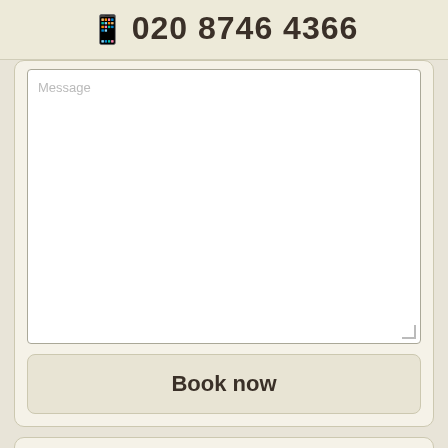📱 020 8746 4366
[Figure (screenshot): Message textarea form field with placeholder text 'Message']
Book now
LONDON AREAS
WEST LONDON
NORTH LONDON
EAST LONDON
SOUTH EAST LONDON
SOUTH WEST LONDON